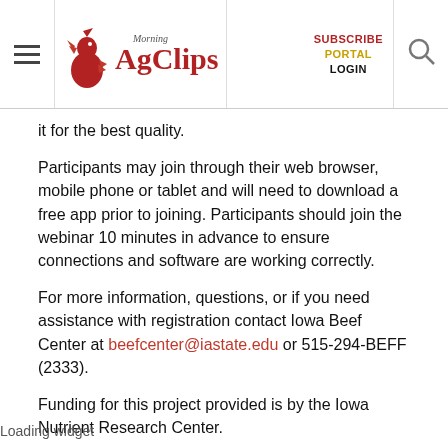Morning AgClips — SUBSCRIBE PORTAL LOGIN
it for the best quality.
Participants may join through their web browser, mobile phone or tablet and will need to download a free app prior to joining. Participants should join the webinar 10 minutes in advance to ensure connections and software are working correctly.
For more information, questions, or if you need assistance with registration contact Iowa Beef Center at beefcenter@iastate.edu or 515-294-BEFF (2333).
Funding for this project provided is by the Iowa Nutrient Research Center.
The Zoom download is available through the App Store for iOS